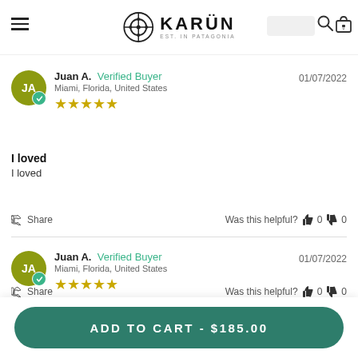KARÜN EST. IN PATAGONIA
Juan A. Verified Buyer Miami, Florida, United States ★★★★★ 01/07/2022
I loved
I loved
Share  Was this helpful? 0  0
Juan A. Verified Buyer Miami, Florida, United States ★★★★★ 01/07/2022
ADD TO CART - $185.00
Share  Was this helpful? 0  0